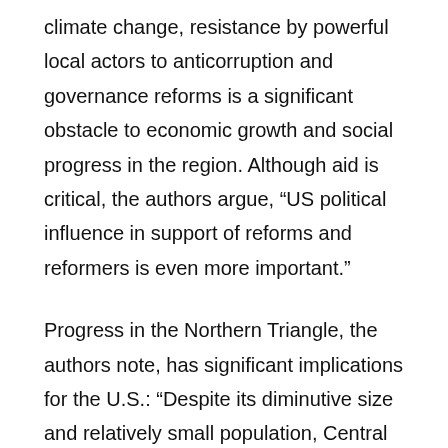climate change, resistance by powerful local actors to anticorruption and governance reforms is a significant obstacle to economic growth and social progress in the region. Although aid is critical, the authors argue, “US political influence in support of reforms and reformers is even more important.”
Progress in the Northern Triangle, the authors note, has significant implications for the U.S.: “Despite its diminutive size and relatively small population, Central America has played an outsized role in the United States’ relations with the hemisphere and the world.” While recognizing the complexity of the region’s problems and the limits of foreign aid, the authors contend that the U.S.